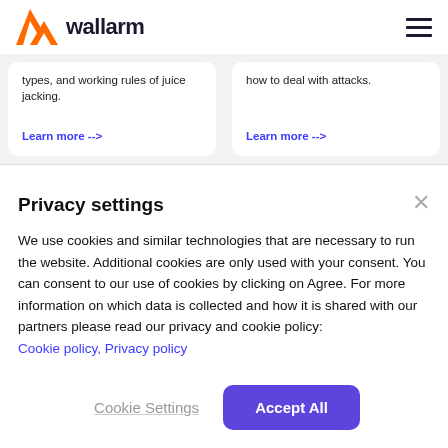wallarm
types, and working rules of juice jacking.
Learn more -->
how to deal with attacks.
Learn more -->
Privacy settings
We use cookies and similar technologies that are necessary to run the website. Additional cookies are only used with your consent. You can consent to our use of cookies by clicking on Agree. For more information on which data is collected and how it is shared with our partners please read our privacy and cookie policy: Cookie policy, Privacy policy
Cookie Settings
Accept All